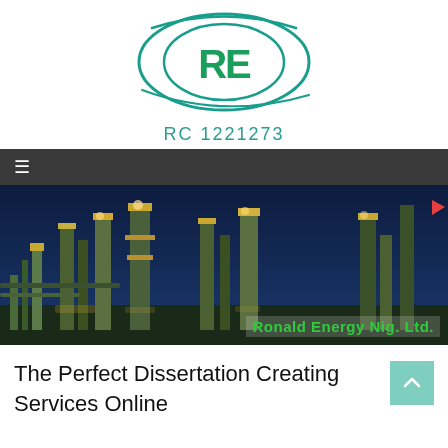[Figure (logo): RE logo — teal oval with stylized RE letters and swoosh lines, with text RC 1221273 below]
RC 1221273
[Figure (photo): Industrial oil refinery at night with illuminated towers and pipes against a dark blue sky, with 'Ronald Energy Nig. Ltd.' text overlay in green]
The Perfect Dissertation Creating Services Online